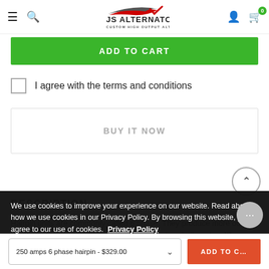JS Alternators - Custom High Output Alternators
ADD TO CART
I agree with the terms and conditions
BUY IT NOW
We use cookies to improve your experience on our website. Read about how we use cookies in our Privacy Policy. By browsing this website, you agree to our use of cookies. Privacy Policy
ACCEPT
DESCRIPTION
Hairpin units are commonly called 6 phase. They produce more output at idle and are more efficient than a conventional alternator. JS Alternators hairpin units feature premium
250 amps 6 phase hairpin - $329.00
ADD TO CART